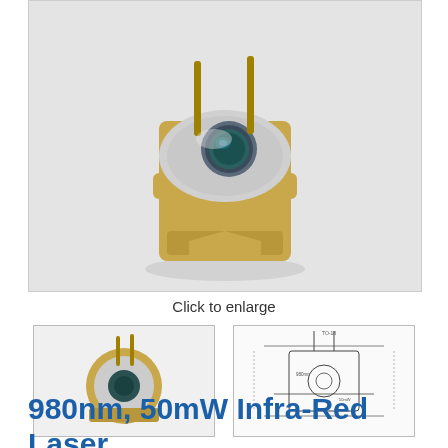[Figure (photo): Close-up photo of a laser diode component with gold/brass body, silver metallic cap with a lens visible showing blue-green coating, with metal pins/leads extending from the top. Photographed on a light gray background.]
Click to enlarge
[Figure (photo): Thumbnail photo of the 980nm 50mW laser diode from a frontal angle showing the TO-can package with pins on top and lens aperture visible.]
[Figure (schematic): Technical drawing / dimensional schematic of the laser diode component showing dimensions and cross-section view.]
980nm, 50mW Infra-Red Laser Diode